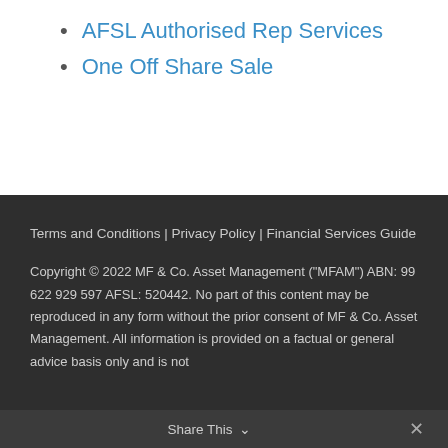AFSL Authorised Rep Services
One Off Share Sale
Terms and Conditions | Privacy Policy | Financial Services Guide
Copyright © 2022 MF & Co. Asset Management ("MFAM") ABN: 99 622 929 597 AFSL: 520442. No part of this content may be reproduced in any form without the prior consent of MF & Co. Asset Management. All information is provided on a factual or general advice basis only and is not
Share This ∨ ✕